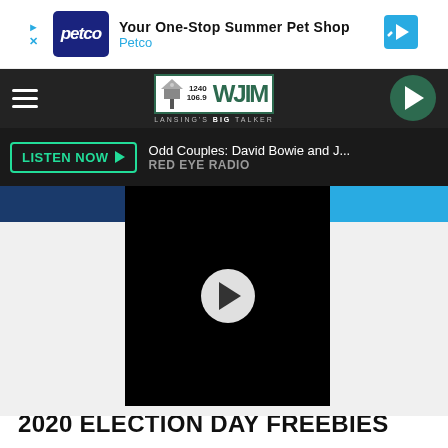[Figure (screenshot): Petco advertisement banner: 'Your One-Stop Summer Pet Shop' with Petco logo and blue direction sign icon]
[Figure (screenshot): WJIM 1240/106.9 radio station navigation bar with hamburger menu, station logo, and play button]
[Figure (screenshot): Now playing bar: 'Odd Couples: David Bowie and J...' RED EYE RADIO with LISTEN NOW button]
[Figure (screenshot): Black video player with white play button circle in center, flanked by blue bars on left and right]
And, since every day has a theme anyways, it's also National Sandwich Day, so a lot of sandwich shops are offering discounts.
2020 ELECTION DAY FREEBIES